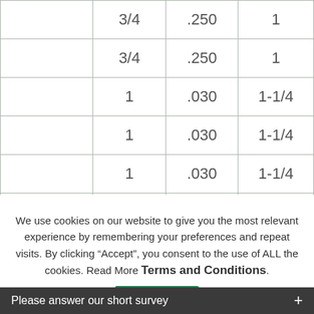|  | 3/4 | .250 | 1 |
|  | 3/4 | .250 | 1 |
|  | 1 | .030 | 1-1/4 |
|  | 1 | .030 | 1-1/4 |
|  | 1 | .030 | 1-1/4 |
|  | 1 | .030 | 1-1/4 |
We use cookies on our website to give you the most relevant experience by remembering your preferences and repeat visits. By clicking “Accept”, you consent to the use of ALL the cookies. Read More Terms and Conditions.
Please answer our short survey +